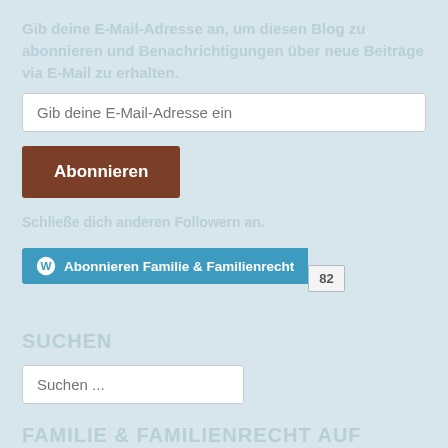Gib deine E-Mail-Adresse an, um diesen Blog zu abonnieren und Benachrichtigungen über neue Beiträge via E-Mail zu erhalten.
Gib deine E-Mail-Adresse ein
Abonnieren
Schließe dich anderen Followern an.
[Figure (other): WordPress follow button for 'Familie & Familienrecht' with follower count badge showing 82]
SUCHEN
Suchen ...
FAMILIE & FAMILIENRECHT AUF FACEBOOK